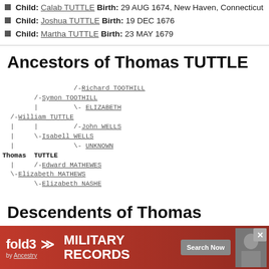Child: Calab TUTTLE Birth: 29 AUG 1674, New Haven, Connecticut
Child: Joshua TUTTLE Birth: 19 DEC 1676
Child: Martha TUTTLE Birth: 23 MAY 1679
Ancestors of Thomas TUTTLE
[Figure (other): Genealogical ancestor tree for Thomas TUTTLE showing ancestors: Richard TOOTHILL, Symon TOOTHILL, ELIZABETH, William TUTTLE, John WELLS, Isabell WELLS, UNKNOWN, Thomas TUTTLE, Edward MATHEWES, Elizabeth MATHEWS, Elizabeth NASHE]
Descendents of Thomas TUTTLE
1  Thomas TUTTLE =Hanna... Birth: ..., New ...
2  Ab...
2  Ha...
[Figure (other): fold3 MILITARY RECORDS by Ancestry advertisement banner with Search Now button and soldier photo, with close button]